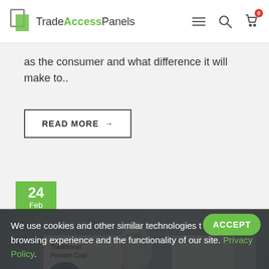Trade Access Panels
as the consumer and what difference it will make to..
READ MORE →
24 Feb
[Figure (photo): Industrial/lab scene with worker in white protective suit, with product cards labeled 'Traditional Powder Coat' and 'Antibacterial Powder Coat' overlaid]
We use cookies and other similar technologies t improve your browsing experience and the functionality of our site. Privacy Policy.